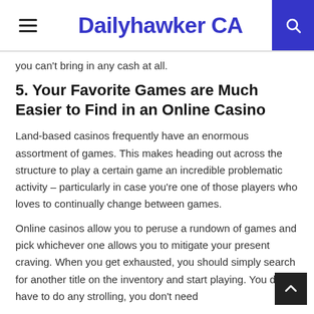Dailyhawker CA
you can't bring in any cash at all.
5. Your Favorite Games are Much Easier to Find in an Online Casino
Land-based casinos frequently have an enormous assortment of games. This makes heading out across the structure to play a certain game an incredible problematic activity – particularly in case you're one of those players who loves to continually change between games.
Online casinos allow you to peruse a rundown of games and pick whichever one allows you to mitigate your present craving. When you get exhausted, you should simply search for another title on the inventory and start playing. You don't have to do any strolling, you don't need